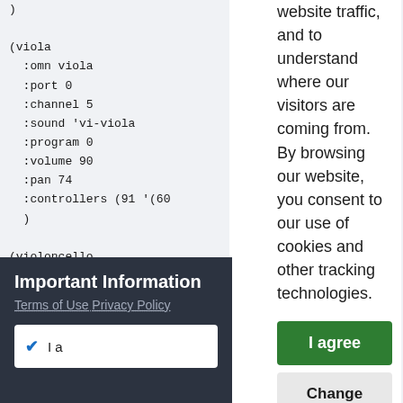)

(viola
  :omn viola
  :port 0
  :channel 5
  :sound 'vi-viola
  :program 0
  :volume 90
  :pan 74
  :controllers (91 '(60
  )

(violoncello
  :omn violoncello
  :port 0
website traffic, and to understand where our visitors are coming from. By browsing our website, you consent to our use of cookies and other tracking technologies.
I agree
Change my preferences
Important Information
Terms of Use Privacy Policy
I a